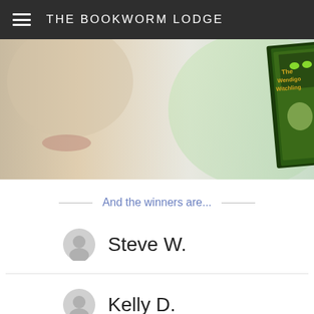THE BOOKWORM LODGE
[Figure (photo): Banner image showing a young woman's face partially visible, holding a book titled 'The Wendigo Witchling' with a green fantasy cover featuring a girl and glowing eyes]
And the winners are...
Steve W.
Kelly D.